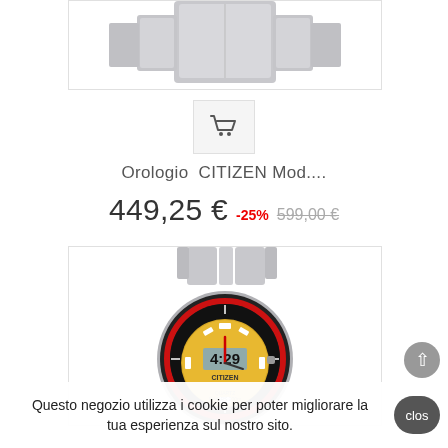[Figure (photo): Top portion of a silver metal watch bracelet/strap, cropped, shown against white background inside a bordered container]
[Figure (illustration): Shopping cart icon in a light grey square button]
Orologio  CITIZEN Mod....
449,25 €  -25%  599,00 €
[Figure (photo): Citizen Quartz Diver 200m watch with yellow dial, black bezel with red inner ring, digital display showing 4:29, silver metal bracelet]
Questo negozio utilizza i cookie per poter migliorare la tua esperienza sul nostro sito.